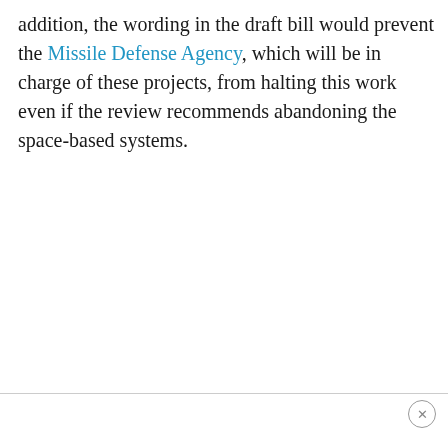addition, the wording in the draft bill would prevent the Missile Defense Agency, which will be in charge of these projects, from halting this work even if the review recommends abandoning the space-based systems.